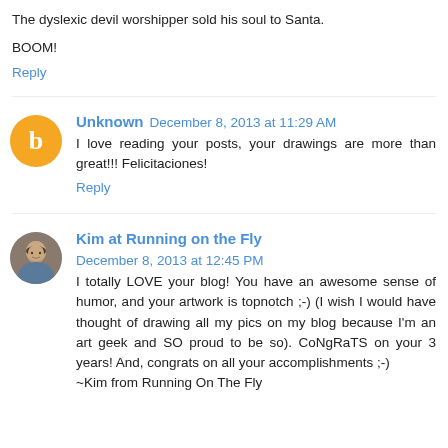The dyslexic devil worshipper sold his soul to Santa.

BOOM!
Reply
Unknown  December 8, 2013 at 11:29 AM
I love reading your posts, your drawings are more than great!!! Felicitaciones!
Reply
Kim at Running on the Fly  December 8, 2013 at 12:45 PM
I totally LOVE your blog! You have an awesome sense of humor, and your artwork is topnotch ;-) (I wish I would have thought of drawing all my pics on my blog because I'm an art geek and SO proud to be so). CoNgRaTS on your 3 years! And, congrats on all your accomplishments ;-)
~Kim from Running On The Fly